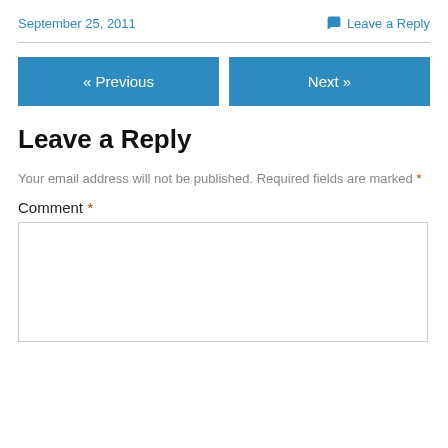September 25, 2011
💬 Leave a Reply
« Previous
Next »
Leave a Reply
Your email address will not be published. Required fields are marked *
Comment *